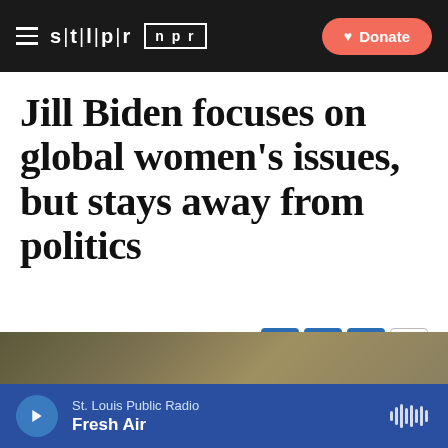stl|p|r  npr  Donate
Jill Biden focuses on global women's issues, but stays away from politics
St. Louis Public Radio | By Jo Mannies
Published September 21, 2015 at 5:59 PM CDT
[Figure (photo): Partial photo strip at bottom of article]
St. Louis Public Radio Fresh Air